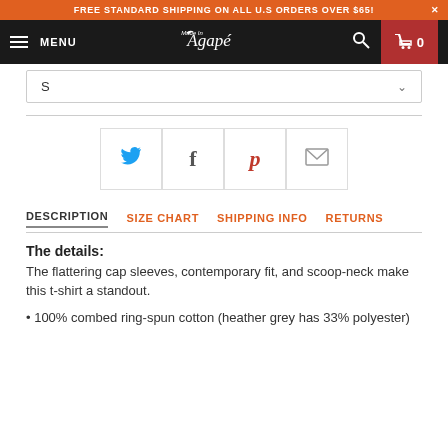FREE STANDARD SHIPPING ON ALL U.S ORDERS OVER $65! X
[Figure (screenshot): Navigation bar with hamburger menu icon, MENU text, Made in Agape logo, search icon, and cart icon showing 0 items]
S
[Figure (infographic): Social sharing icons in bordered boxes: Twitter bird (blue), Facebook f (dark), Pinterest p (red), email envelope (grey)]
DESCRIPTION   SIZE CHART   SHIPPING INFO   RETURNS
The details:
The flattering cap sleeves, contemporary fit, and scoop-neck make this t-shirt a standout.
• 100% combed ring-spun cotton (heather grey has 33% polyester)